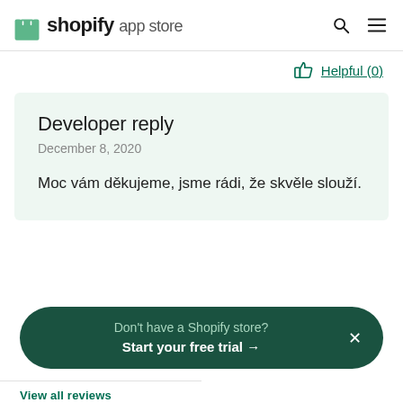shopify app store
Helpful (0)
Developer reply
December 8, 2020
Moc vám děkujeme, jsme rádi, že skvěle slouží.
Don't have a Shopify store? Start your free trial →
View all reviews